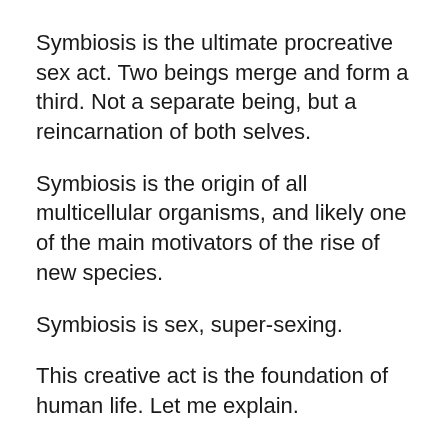Symbiosis is the ultimate procreative sex act. Two beings merge and form a third. Not a separate being, but a reincarnation of both selves.
Symbiosis is the origin of all multicellular organisms, and likely one of the main motivators of the rise of new species.
Symbiosis is sex, super-sexing.
This creative act is the foundation of human life. Let me explain.
Many protoctists (usually mislabeled “protozoans” – there is no “zoo” in them, since they aren’t animals) like the thermoplasm, reproduce through cell division, also called mitosis, in which an organism copies its own DNA and